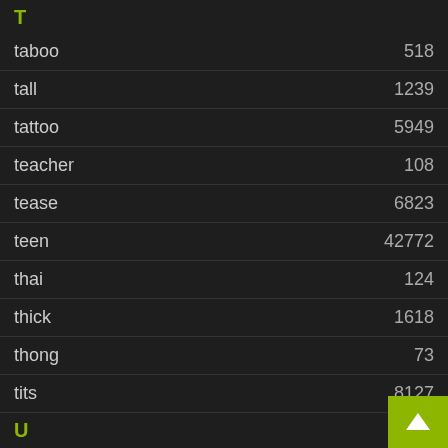T
taboo	518
tall	1239
tattoo	5949
teacher	108
tease	6823
teen	42772
thai	124
thick	1618
thong	73
tits	8127
U
ugly	34
upskirt	16735
V
vibrator	(partial)